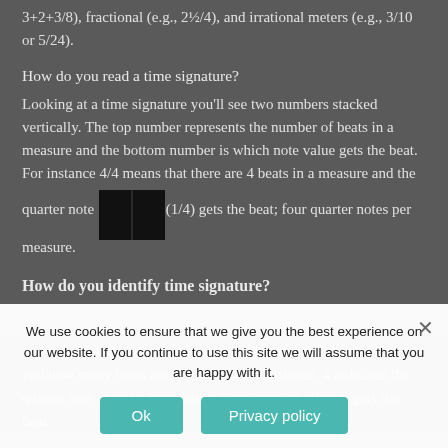3+2+3/8), fractional (e.g., 2½/4), and irrational meters (e.g., 3/10 or 5/24).
How do you read a time signature?
Looking at a time signature you'll see two numbers stacked vertically. The top number represents the number of beats in a measure and the bottom number is which note value gets the beat. For instance 4/4 means that there are 4 beats in a measure and the quarter note (1/4) gets the beat; four quarter notes per measure.
How do you identify time signature?
If you look at the numbers in a time signature, the top number tells you how many beats are in the beat. For instance, 4 indicates the quarter note gets the beat, while 2 indicates a half note gets the beat.
We use cookies to ensure that we give you the best experience on our website. If you continue to use this site we will assume that you are happy with it.